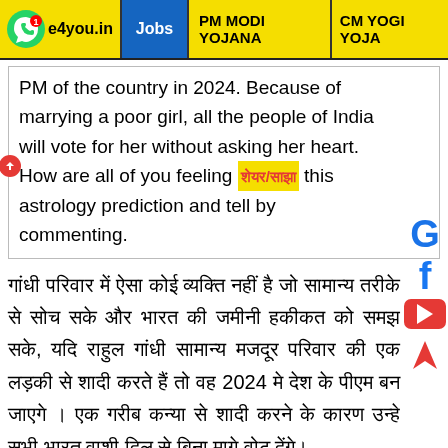e4you.in | Jobs | PM MODI YOJANA | CM YOGI YOJA
PM of the country in 2024. Because of marrying a poor girl, all the people of India will vote for her without asking her heart. How are all of you feeling this astrology prediction and tell by commenting.
गांधी परिवार में ऐसा कोई व्यक्ति नहीं है जो सामान्य तरीके से सोच सके और भारत की जमीनी हकीकत को समझ सके, यदि राहुल गांधी सामान्य मजदूर परिवार की एक लड़की से शादी करते हैं तो वह 2024 मे देश के पीएम बन जाएगे । एक गरीब कन्या से शादी करने के कारण उन्हे सभी भारत वाशी दिल से बिना मागे वोट देंगे।
आप सभी को यह ज्योतिष भविष्यवाणी कैसे लग रही है कमेंट करके बताएं ।